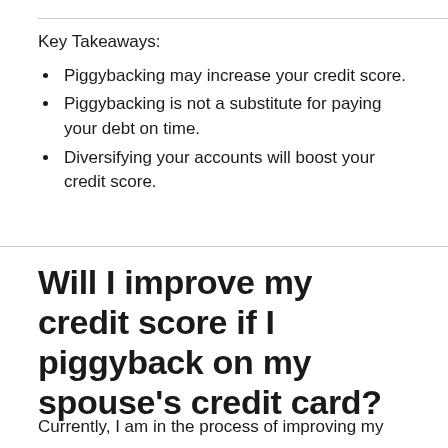Key Takeaways:
Piggybacking may increase your credit score.
Piggybacking is not a substitute for paying your debt on time.
Diversifying your accounts will boost your credit score.
Will I improve my credit score if I piggyback on my spouse's credit card?
Currently, I am in the process of improving my